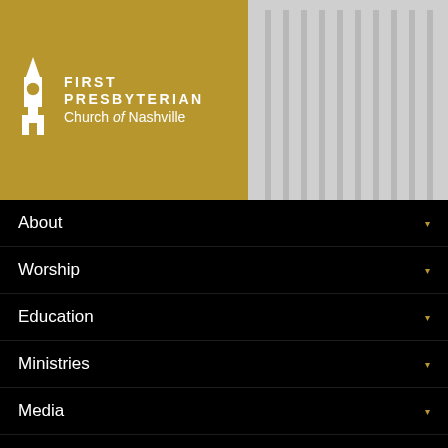[Figure (logo): First Presbyterian Church of Nashville logo with gold background, white church steeple icon, and text 'FIRST PRESBYTERIAN Church of Nashville']
About ▼
Worship ▼
Education ▼
Ministries ▼
Media ▼
Events ▼
Giving ▼
Login
<--- back to sermon list